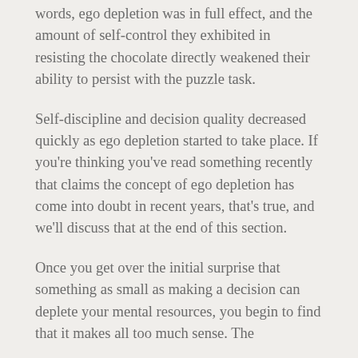words, ego depletion was in full effect, and the amount of self-control they exhibited in resisting the chocolate directly weakened their ability to persist with the puzzle task.
Self-discipline and decision quality decreased quickly as ego depletion started to take place. If you're thinking you've read something recently that claims the concept of ego depletion has come into doubt in recent years, that's true, and we'll discuss that at the end of this section.
Once you get over the initial surprise that something as small as making a decision can deplete your mental resources, you begin to find that it makes all too much sense. The